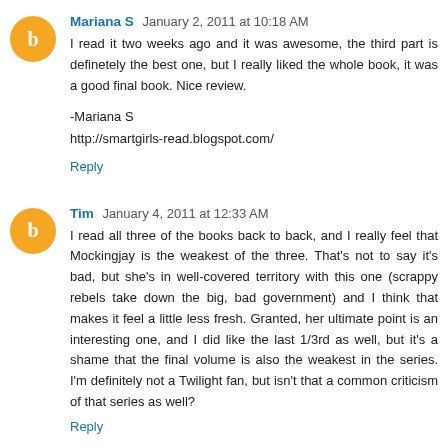Mariana S  January 2, 2011 at 10:18 AM
I read it two weeks ago and it was awesome, the third part is definetely the best one, but I really liked the whole book, it was a good final book. Nice review.

-Mariana S
http://smartgirls-read.blogspot.com/
Reply
Tim  January 4, 2011 at 12:33 AM
I read all three of the books back to back, and I really feel that Mockingjay is the weakest of the three. That's not to say it's bad, but she's in well-covered territory with this one (scrappy rebels take down the big, bad government) and I think that makes it feel a little less fresh. Granted, her ultimate point is an interesting one, and I did like the last 1/3rd as well, but it's a shame that the final volume is also the weakest in the series. I'm definitely not a Twilight fan, but isn't that a common criticism of that series as well?
Reply